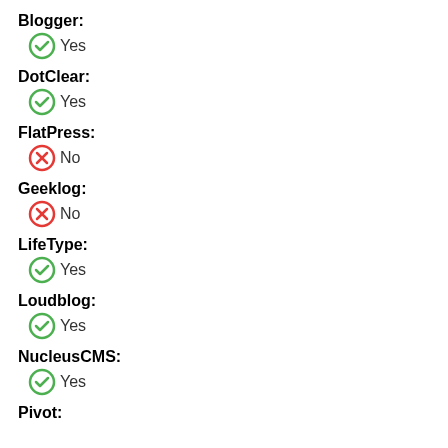Blogger: Yes
DotClear: Yes
FlatPress: No
Geeklog: No
LifeType: Yes
Loudblog: Yes
NucleusCMS: Yes
Pivot: (partial, cut off)